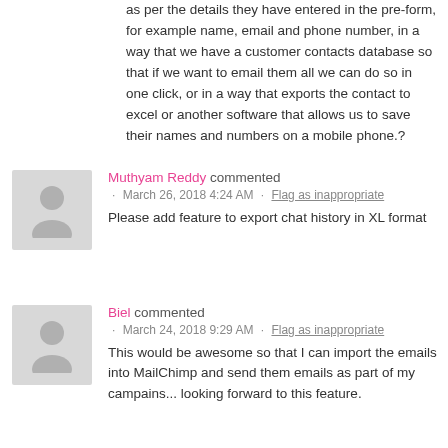as per the details they have entered in the pre-form, for example name, email and phone number, in a way that we have a customer contacts database so that if we want to email them all we can do so in one click, or in a way that exports the contact to excel or another software that allows us to save their names and numbers on a mobile phone.?
Muthyam Reddy commented · March 26, 2018 4:24 AM · Flag as inappropriate
Please add feature to export chat history in XL format
Biel commented · March 24, 2018 9:29 AM · Flag as inappropriate
This would be awesome so that I can import the emails into MailChimp and send them emails as part of my campains... looking forward to this feature.